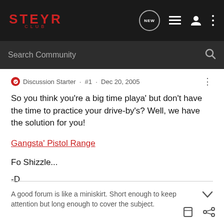STEYR CLUB
Discussion Starter · #1 · Dec 20, 2005
So you think you're a big time playa' but don't have the time to practice your drive-by's? Well, we have the solution for you!
Gangsta' Pistol Range
Fo Shizzle...
-D
A good forum is like a miniskirt. Short enough to keep attention but long enough to cover the subject.